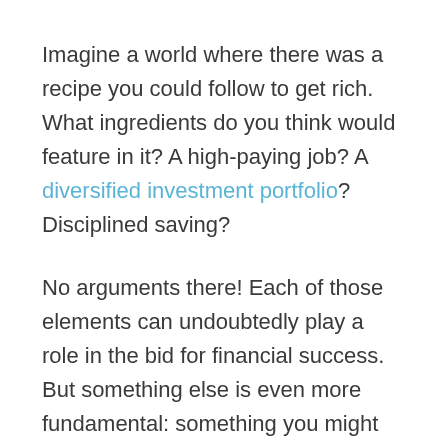Imagine a world where there was a recipe you could follow to get rich. What ingredients do you think would feature in it? A high-paying job? A diversified investment portfolio? Disciplined saving?
No arguments there! Each of those elements can undoubtedly play a role in the bid for financial success. But something else is even more fundamental: something you might not expect to be as pivotal as it is – your mindset.